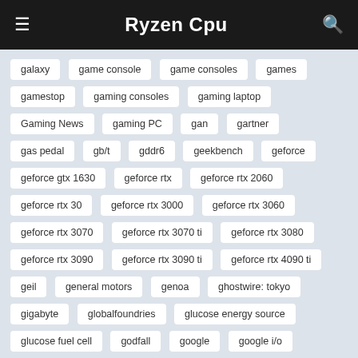Ryzen Cpu
galaxy
game console
game consoles
games
gamestop
gaming consoles
gaming laptop
Gaming News
gaming PC
gan
gartner
gas pedal
gb/t
gddr6
geekbench
geforce
geforce gtx 1630
geforce rtx
geforce rtx 2060
geforce rtx 30
geforce rtx 3000
geforce rtx 3060
geforce rtx 3070
geforce rtx 3070 ti
geforce rtx 3080
geforce rtx 3090
geforce rtx 3090 ti
geforce rtx 4090 ti
geil
general motors
genoa
ghostwire: tokyo
gigabyte
globalfoundries
glucose energy source
glucose fuel cell
godfall
google
google i/o
gpgpu
gpu
grace
grand theft auto
granite rapids
graphics card
graphics cards